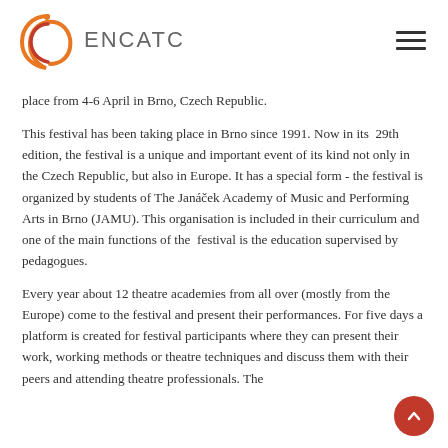ENCATC
place from 4-6 April in Brno, Czech Republic.
This festival has been taking place in Brno since 1991. Now in its 29th edition, the festival is a unique and important event of its kind not only in the Czech Republic, but also in Europe. It has a special form - the festival is organized by students of The Janáček Academy of Music and Performing Arts in Brno (JAMU). This organisation is included in their curriculum and one of the main functions of the festival is the education supervised by pedagogues.
Every year about 12 theatre academies from all over (mostly from the Europe) come to the festival and present their performances. For five days a platform is created for festival participants where they can present their work, working methods or theatre techniques and discuss them with their peers and attending theatre professionals. The